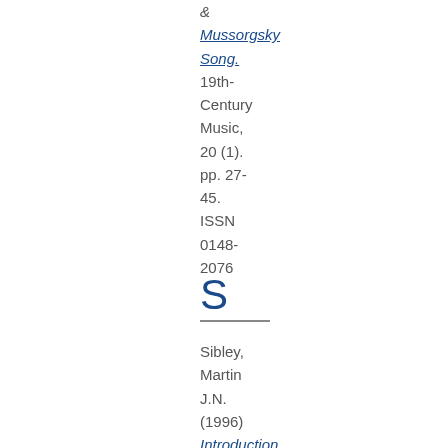& Mussorgsky Song. 19th-Century Music, 20 (1). pp. 27-45. ISSN 0148-2076
S
Sibley, Martin J.N. (1996) Introduction to electromagnetic